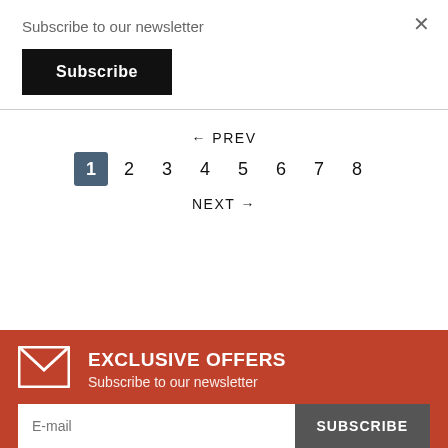Subscribe to our newsletter
Subscribe
× (close button)
← PREV
1  2  3  4  5  6  7  8
NEXT →
EXCLUSIVE OFFERS
Subscribe to our newsletter
E-mail
SUBSCRIBE